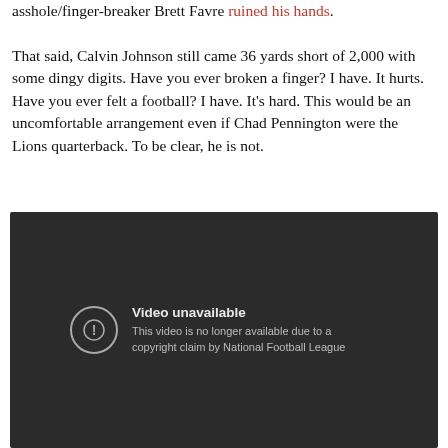asshole/finger-breaker Brett Favre ruined his hands. That said, Calvin Johnson still came 36 yards short of 2,000 with some dingy digits. Have you ever broken a finger? I have. It hurts. Have you ever felt a football? I have. It's hard. This would be an uncomfortable arrangement even if Chad Pennington were the Lions quarterback. To be clear, he is not.
[Figure (screenshot): YouTube video unavailable screenshot with dark background. Shows a circle-exclamation icon and text: 'Video unavailable. This video is no longer available due to a copyright claim by National Football League']